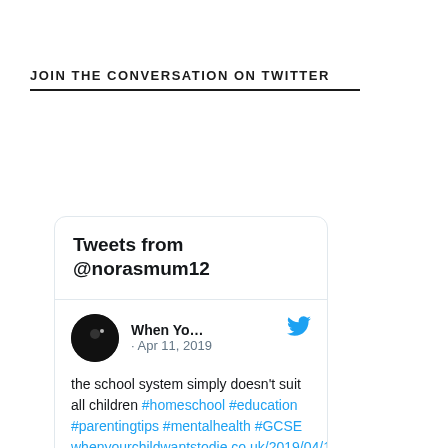JOIN THE CONVERSATION ON TWITTER
[Figure (screenshot): Twitter widget showing 'Tweets from @norasmum12' with a tweet from 'When Yo...' dated Apr 11, 2019 reading: 'the school system simply doesn't suit all children #homeschool #education #parentingtips #mentalhealth #GCSE whenyourchildwantstodie.co.uk/2019/04/11/sch…']